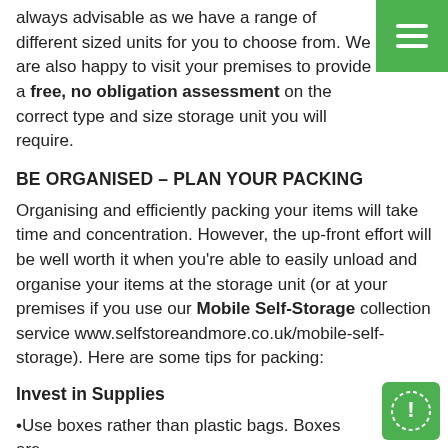always advisable as we have a range of different sized units for you to choose from. We are also happy to visit your premises to provide a free, no obligation assessment on the correct type and size storage unit you will require.
BE ORGANISED – PLAN YOUR PACKING
Organising and efficiently packing your items will take time and concentration. However, the up-front effort will be well worth it when you're able to easily unload and organise your items at the storage unit (or at your premises if you use our Mobile Self-Storage collection service www.selfstoreandmore.co.uk/mobile-self-storage). Here are some tips for packing:
Invest in Supplies
•Use boxes rather than plastic bags. Boxes are